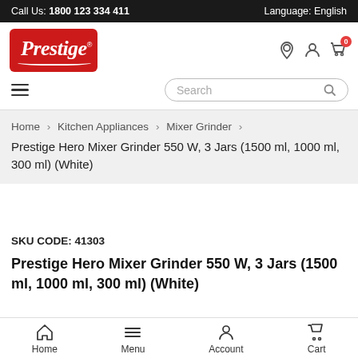Call Us: 1800 123 334 411 | Language: English
[Figure (logo): Prestige brand logo in red rectangle with italic text and swish]
Home > Kitchen Appliances > Mixer Grinder > Prestige Hero Mixer Grinder 550 W, 3 Jars (1500 ml, 1000 ml, 300 ml) (White)
SKU CODE: 41303
Prestige Hero Mixer Grinder 550 W, 3 Jars (1500 ml, 1000 ml, 300 ml) (White)
Home | Menu | Account | Cart